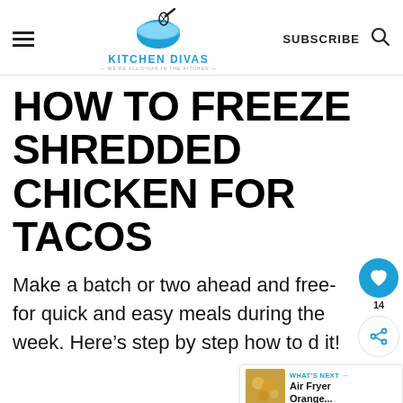KITCHEN DIVAS
HOW TO FREEZE SHREDDED CHICKEN FOR TACOS
Make a batch or two ahead and freeze for quick and easy meals during the week. Here's step by step how to do it!
WHAT'S NEXT → Air Fryer Orange...